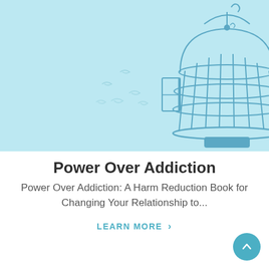[Figure (illustration): A blue birdcage with an open door on a light blue background, with small bird silhouettes flying away on the left side. The cage hangs from a hook at the top.]
Power Over Addiction
Power Over Addiction: A Harm Reduction Book for Changing Your Relationship to...
LEARN MORE >